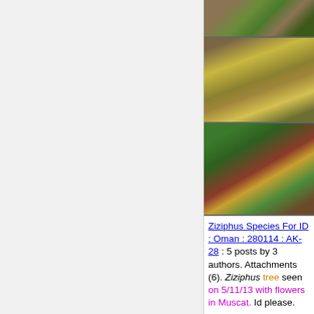[Figure (photo): Photo of plant with branches and small berries, brownish-green tones]
[Figure (photo): Photo of Ziziphus plant with yellow-green small fruits and brown branches]
[Figure (photo): Close-up photo of Ziziphus plant with green leaves and small round fruits]
Ziziphus Species For ID : Oman : 280114 : AK-28 : 5 posts by 3 authors. Attachments (6). Ziziphus tree seen on 5/11/13 with flowers in Muscat. Id please.
The three species that we find here are Ziziphus mauritii...